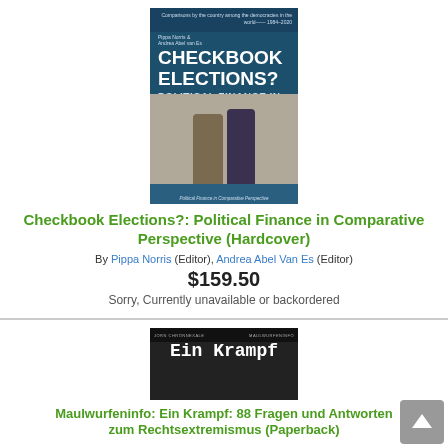[Figure (photo): Book cover of Checkbook Elections? Political Finance in Comparative Perspective, dark blue cover with historical illustration of two figures]
Checkbook Elections?: Political Finance in Comparative Perspective (Hardcover)
By Pippa Norris (Editor), Andrea Abel Van Es (Editor)
$159.50
Sorry, Currently unavailable or backordered
[Figure (photo): Book cover of Maulwurfeninfo: Ein Krampf — dark cover with white bold gothic text and abstract dark shapes]
Maulwurfeninfo: Ein Krampf: 88 Fragen und Antworten zum Rechtsextremismus (Paperback)